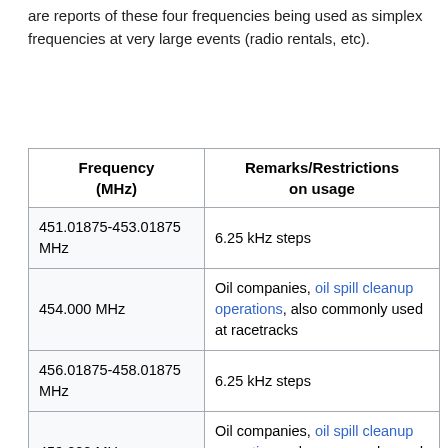are reports of these four frequencies being used as simplex frequencies at very large events (radio rentals, etc).
| Frequency (MHz) | Remarks/Restrictions on usage |
| --- | --- |
| 451.01875-453.01875 MHz | 6.25 kHz steps |
| 454.000 MHz | Oil companies, oil spill cleanup operations, also commonly used at racetracks |
| 456.01875-458.01875 MHz | 6.25 kHz steps |
| 459.000 MHz | Oil companies, oil spill cleanup operations, also commonly used at racetracks |
| 462.750-462.9375 MHz | 12.5 kHz steps, shared with local and wide-area paging services |
| 463.200- |  |